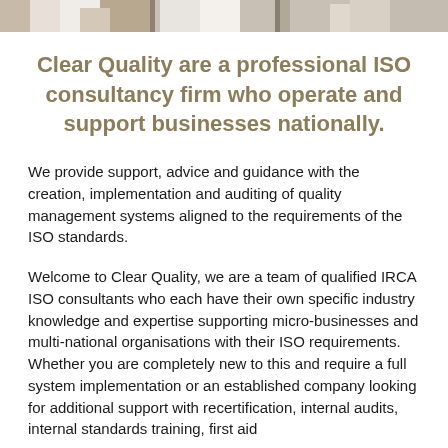[Figure (photo): Partial photo strip at top of page showing people in a professional/office setting, cropped at the bottom edge of the image]
Clear Quality are a professional ISO consultancy firm who operate and support businesses nationally.
We provide support, advice and guidance with the creation, implementation and auditing of quality management systems aligned to the requirements of the ISO standards.
Welcome to Clear Quality, we are a team of qualified IRCA ISO consultants who each have their own specific industry knowledge and expertise supporting micro-businesses and multi-national organisations with their ISO requirements. Whether you are completely new to this and require a full system implementation or an established company looking for additional support with recertification, internal audits, internal standards training, first aid